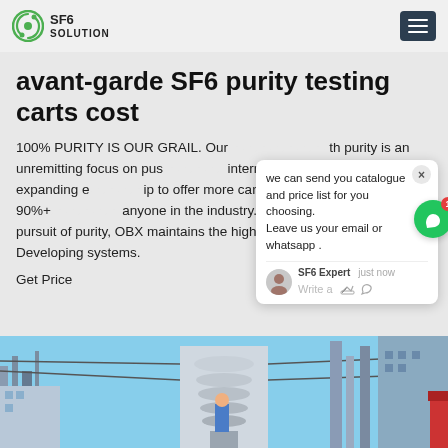SF6 SOLUTION
avant-garde SF6 purity testing carts cost
100% PURITY IS OUR GRAIL. Our th purity is an unremitting focus on pus internal capabilities and expanding e ip to offer more cannabinoids at 90%+ anyone in the industry. QUALITY AS In pursuit of purity, OBX maintains the highest levels of testing. Developing systems.
Get Price
[Figure (screenshot): Chat popup with message: we can send you catalogue and price list for you choosing. Leave us your email or whatsapp. SF6 Expert just now. Write a message input area.]
[Figure (photo): Electrical substation with large transformer/insulator equipment, blue sky background, worker visible.]